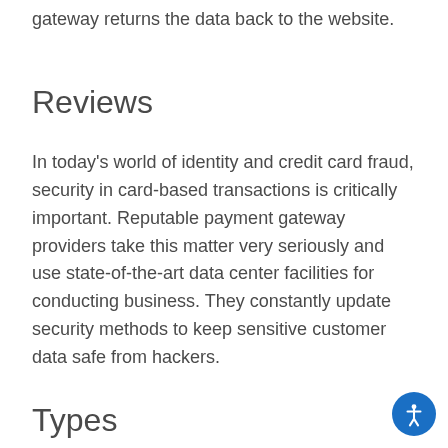gateway returns the data back to the website.
Reviews
In today's world of identity and credit card fraud, security in card-based transactions is critically important. Reputable payment gateway providers take this matter very seriously and use state-of-the-art data center facilities for conducting business. They constantly update security methods to keep sensitive customer data safe from hackers.
Types